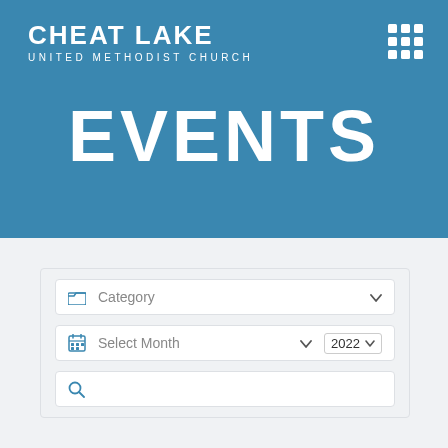CHEAT LAKE
UNITED METHODIST CHURCH
EVENTS
[Figure (screenshot): Category dropdown filter with folder icon and chevron]
[Figure (screenshot): Select Month dropdown with calendar icon, month selector with chevron, 2022 year dropdown with chevron, and search field with magnifying glass icon]